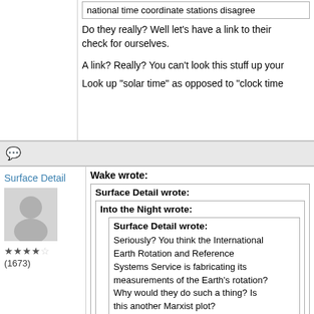national time coordinate stations disagree
Do they really? Well let's have a link to their check for ourselves.
A link? Really? You can't look this stuff up your
Look up "solar time" as opposed to "clock time
Surface Detail
Wake wrote:
Surface Detail wrote:
Into the Night wrote:
Surface Detail wrote:
Seriously? You think the International Earth Rotation and Reference Systems Service is fabricating its measurements of the Earth's rotation? Why would they do such a thing? Is this another Marxist plot?
I don't think your numbers come from The national time coordinate stations